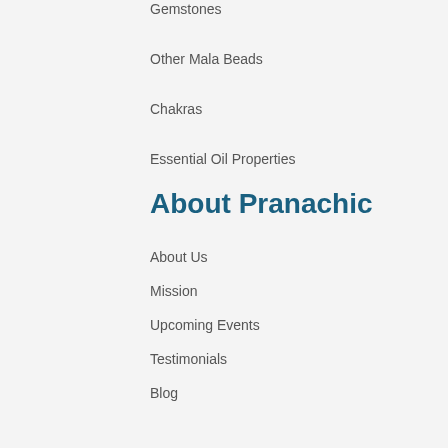Gemstones
Other Mala Beads
Chakras
Essential Oil Properties
About Pranachic
About Us
Mission
Upcoming Events
Testimonials
Blog
The Story Of Yoga Mists
How To Clean Your Yoga Mat
How To Tie Your Yoga Wrap
Stay Connected
SIGNUP FOR OUR NEWSLETTERS
Email Address